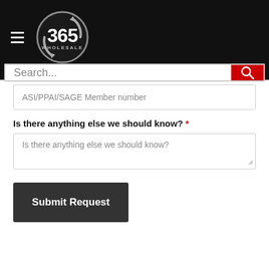[Figure (logo): 365 Wholesale logo in a circular border with arrows on black header background]
Search...
ASI/PPAI/SAGE Member number
Is there anything else we should know? *
Is there anything else we should know?
Submit Request